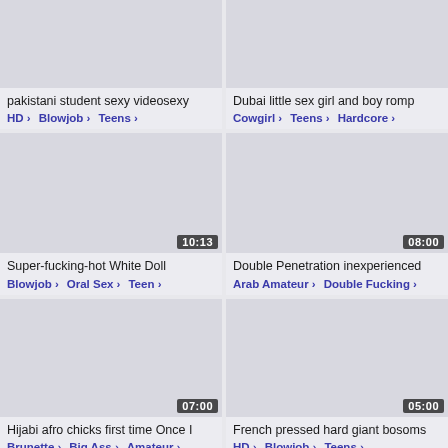[Figure (screenshot): Video thumbnail placeholder top-left, no duration shown]
pakistani student sexy videosexy
HD > Blowjob > Teens >
[Figure (screenshot): Video thumbnail placeholder top-right, no duration shown]
Dubai little sex girl and boy romp
Cowgirl > Teens > Hardcore >
[Figure (screenshot): Video thumbnail placeholder middle-left, duration 10:13]
Super-fucking-hot White Doll
Blowjob > Oral Sex > Teen >
[Figure (screenshot): Video thumbnail placeholder middle-right, duration 08:00]
Double Penetration inexperienced
Arab Amateur > Double Fucking >
[Figure (screenshot): Video thumbnail placeholder lower-left, duration 07:00]
Hijabi afro chicks first time Once I
Brunette > Big Ass > Amateur >
[Figure (screenshot): Video thumbnail placeholder lower-right, duration 05:00]
French pressed hard giant bosoms
HD > Blowjob > Teens >